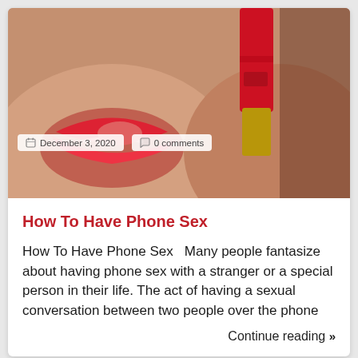[Figure (photo): Close-up photo of lips applying red lipstick with overlay date and comment meta badges]
December 3, 2020   0 comments
How To Have Phone Sex
How To Have Phone Sex   Many people fantasize about having phone sex with a stranger or a special person in their life. The act of having a sexual conversation between two people over the phone
Continue reading »
[Figure (infographic): White card with a red circular phone call button icon in the center]